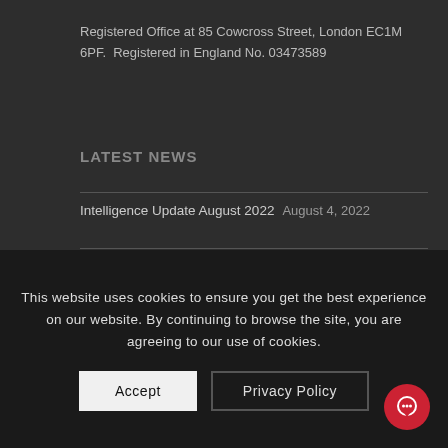Registered Office at 85 Cowcross Street, London EC1M 6PF. Registered in England No. 03473589
LATEST NEWS
Intelligence Update August 2022   August 4, 2022
Intelligence Update July 2022   July 8, 2022
Special Bulletin – Oslo Terror Attack – Incident ahead of the Oslo Pride Festival   June 28, 2022
ARMED FORCES DAY 2022: Celebrating our ex-military colleagues   June 24, 2022
LATEST TW
This website uses cookies to ensure you get the best experience on our website. By continuing to browse the site, you are agreeing to our use of cookies.